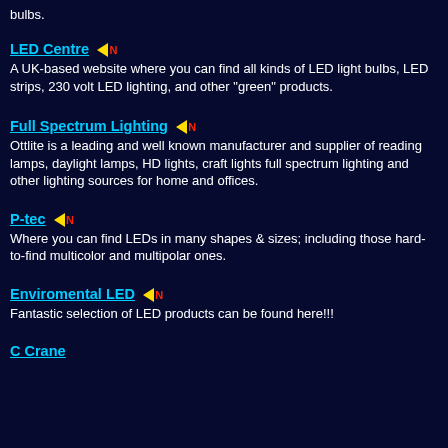bulbs.
LED Centre
A UK-based website where you can find all kinds of LED light bulbs, LED strips, 230 volt LED lighting, and other "green" products.
Full Spectrum Lighting
Ottlite is a leading and well known manufacturer and supplier of reading lamps, daylight lamps, HD lights, craft lights full spectrum lighting and other lighting sources for home and offices.
P-tec
Where you can find LEDs in many shapes & sizes; including those hard-to-find multicolor and multipolar ones.
Enviromental LED
Fantastic selection of LED products can be found here!!!
C Crane